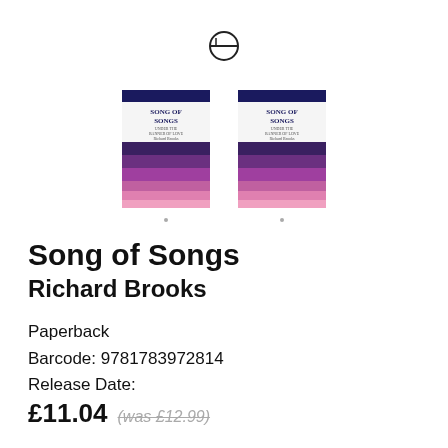[Figure (logo): EP publisher logo - circle with horizontal line through middle]
[Figure (photo): Two book covers of 'Song of Songs' by Richard Brooks, showing purple and pink striped design with dark blue top band]
Song of Songs
Richard Brooks
Paperback
Barcode: 9781783972814
Release Date:
£11.04  (was £12.99)